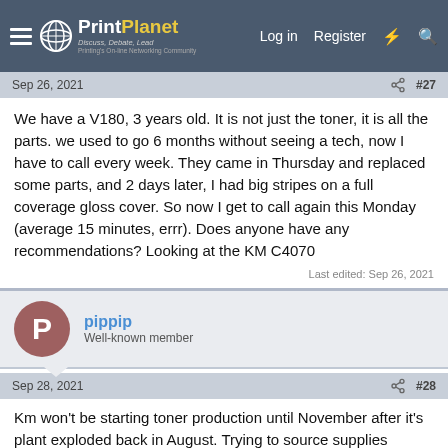PrintPlanet — Discuss, Debate, Lead. Printing's On-line Networking Community. Log in | Register
Sep 26, 2021  #27
We have a V180, 3 years old. It is not just the toner, it is all the parts. we used to go 6 months without seeing a tech, now I have to call every week. They came in Thursday and replaced some parts, and 2 days later, I had big stripes on a full coverage gloss cover. So now I get to call again this Monday (average 15 minutes, errr). Does anyone have any recommendations? Looking at the KM C4070
Last edited: Sep 26, 2021
pippip
Well-known member
Sep 28, 2021  #28
Km won't be starting toner production until November after it's plant exploded back in August. Trying to source supplies elsewhere.